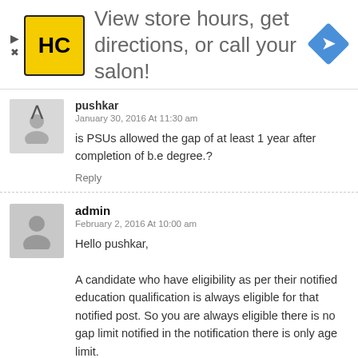[Figure (other): Advertisement banner: HC logo (yellow background with black border), text 'View store hours, get directions, or call your salon!', blue diamond navigation icon]
pushkar
January 30, 2016 At 11:30 am
is PSUs allowed the gap of at least 1 year after completion of b.e degree.?
Reply
admin
February 2, 2016 At 10:00 am
Hello pushkar,

A candidate who have eligibility as per their notified education qualification is always eligible for that notified post. So you are always eligible there is no gap limit notified in the notification there is only age limit.